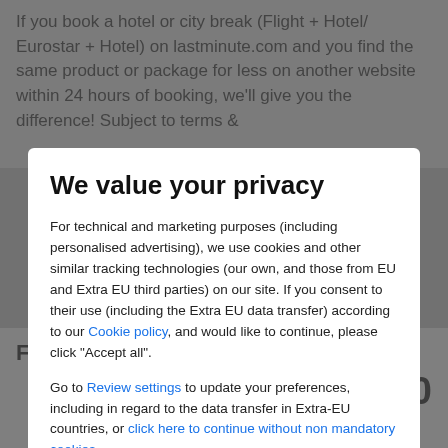If you book a hotel or city break (Flight + Hotel/ Eurostar + Hotel) on lastminute.com and you find the same product or package for less on another website within 24 hours of booking, we'll give you the difference! Subject to terms &
We value your privacy
For technical and marketing purposes (including personalised advertising), we use cookies and other similar tracking technologies (our own, and those from EU and Extra EU third parties) on our site. If you consent to their use (including the Extra EU data transfer) according to our Cookie policy, and would like to continue, please click "Accept all".
Go to Review settings to update your preferences, including in regard to the data transfer in Extra-EU countries, or click here to continue without non mandatory cookies.
ACCEPT ALL
Fernando's Guest House Hotel
per night from £30